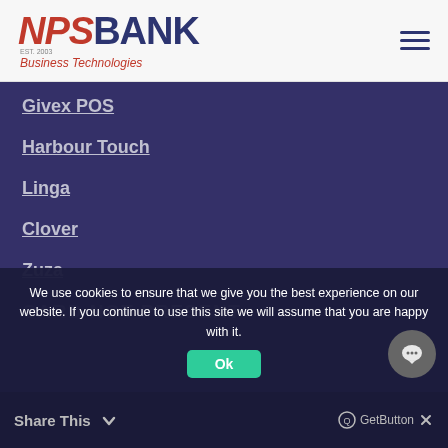[Figure (logo): NPS BANK Business Technologies logo with American flag motif on letters NPS, dark navy BANK text, red italic Business Technologies subtext]
Givex POS
Harbour Touch
Linga
Clover
Zuza
CARD NOT PRESENT
We use cookies to ensure that we give you the best experience on our website. If you continue to use this site we will assume that you are happy with it.
Share This   GetButton